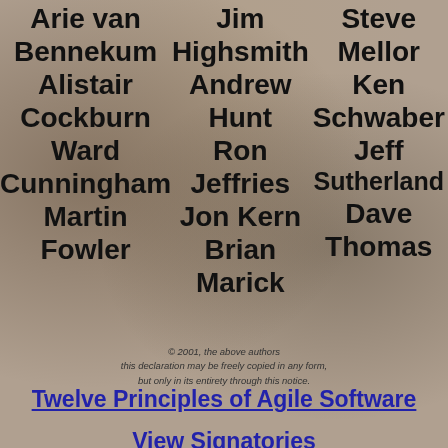[Figure (illustration): Faded painting of people gathered around a table in a historical indoor scene, used as background image]
Arie van Bennekum
Alistair Cockburn
Ward Cunningham
Martin Fowler
Jim Highsmith
Andrew Hunt
Ron Jeffries
Jon Kern
Brian Marick
Steve Mellor
Ken Schwaber
Jeff Sutherland
Dave Thomas
© 2001, the above authors
this declaration may be freely copied in any form,
but only in its entirety through this notice.
Twelve Principles of Agile Software
View Signatories